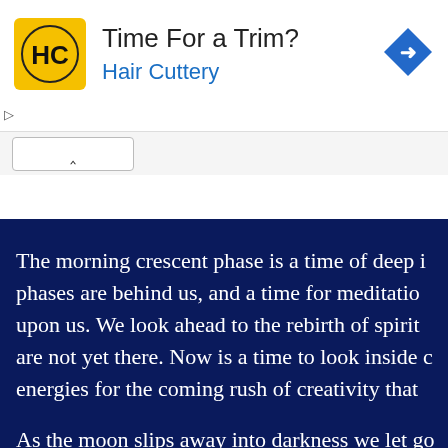[Figure (other): Hair Cuttery advertisement banner with yellow logo, text 'Time For a Trim? Hair Cuttery', and blue diamond navigation icon]
The morning crescent phase is a time of deep i phases are behind us, and a time for meditatio upon us. We look ahead to the rebirth of spirit are not yet there. Now is a time to look inside c energies for the coming rush of creativity that
As the moon slips away into darkness we let go cycle. We center ourselves, say goodbye to the inner selves.